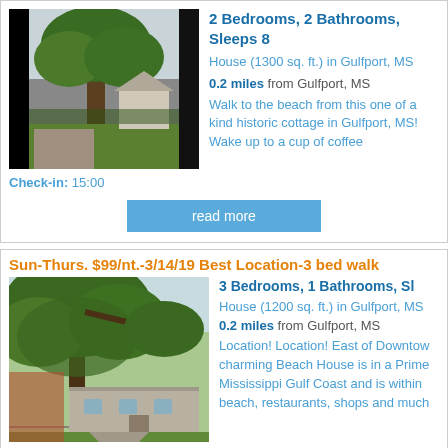[Figure (photo): Photo of a historic cottage with large trees in Gulfport, MS]
Check-in: 15:00
2 Bedrooms, 2 Bathrooms, Sleeps 8
House (1300 sq. ft.) in Gulfport, MS
0.2 miles from Gulfport, MS
Walk to the beach from this one of a kind historic cottage in Gulfport, MS! Wake up to a cup of coffee
read more
Sun-Thurs. $99/nt.-3/14/19 Best Location-3 bed walk
[Figure (photo): Photo of a beach house with large oak trees in Gulfport, MS]
3 Bedrooms, 1 Bathrooms, Sl
House (1200 sq. ft.) in Gulfport, MS
0.2 miles from Gulfport, MS
Location! Location! East of Downtow charming Beach House is in a Prime Mississippi Gulf Coast and is within beach, restaurants, shops and much